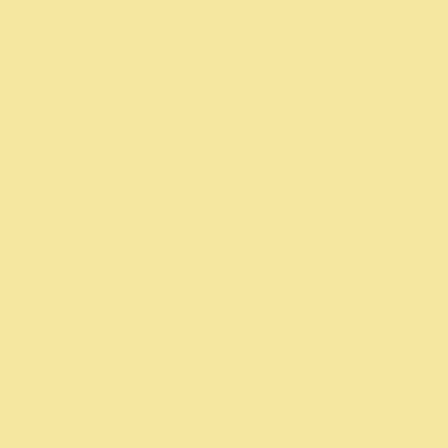my noggin at others (live view?). Me
Your reminder here prompted me to see their reactions. Before peeking I of wandering diatribes over the Reic surprised not disappointed.
Posted by: Ken Tanaka | Saturday, 23 January 2010 a
I agree with you. The M7 and now th own. MR complains about focusing. focusing is what the design is all abc rapid manual focusing. If changed, i
Posted by: A. Dias | Saturday, 23 January 2010 at 12:3
Only request for me would be asking absurditly hateto death the smaller c just about perfect. MR is asking Pors XF.